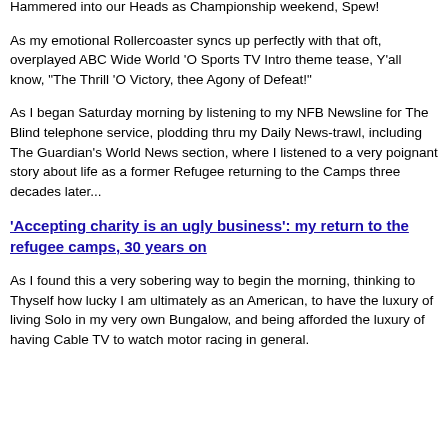there's actually two links that are intertwined with this story and the Cacophony of emotions I experienced over what Leigh Diffey Hammered into our Heads as Championship weekend, Spew!
As my emotional Rollercoaster syncs up perfectly with that oft, overplayed ABC Wide World 'O Sports TV Intro theme tease, Y'all know, "The Thrill 'O Victory, thee Agony of Defeat!"
As I began Saturday morning by listening to my NFB Newsline for The Blind telephone service, plodding thru my Daily News-trawl, including The Guardian's World News section, where I listened to a very poignant story about life as a former Refugee returning to the Camps three decades later...
'Accepting charity is an ugly business': my return to the refugee camps, 30 years on
As I found this a very sobering way to begin the morning, thinking to Thyself how lucky I am ultimately as an American, to have the luxury of living Solo in my very own Bungalow, and being afforded the luxury of having Cable TV to watch motor racing in general.